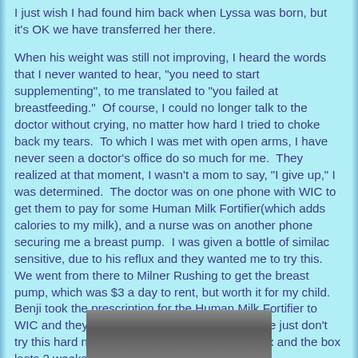I just wish I had found him back when Lyssa was born, but it's OK we have transferred her there.
When his weight was still not improving, I heard the words that I never wanted to hear, "you need to start supplementing", to me translated to "you failed at breastfeeding."  Of course, I could no longer talk to the doctor without crying, no matter how hard I tried to choke back my tears.  To which I was met with open arms, I have never seen a doctor's office do so much for me.  They realized at that moment, I wasn't a mom to say, "I give up," I was determined.  The doctor was on one phone with WIC to get them to pay for some Human Milk Fortifier(which adds calories to my milk), and a nurse was on another phone securing me a breast pump.  I was given a bottle of similac sensitive, due to his reflux and they wanted me to try this.  We went from there to Milner Rushing to get the breast pump, which was $3 a day to rent, but worth it for my child.  Benji took the prescription for the Human Milk Fortifier to WIC and they had to order it.  Apparently, people just don't try this hard now a days.  Oh and it's $180 a box and the box lasts 2 weeks.
[Figure (photo): Partial photograph visible at the bottom of the page, showing a gray/dark surface]